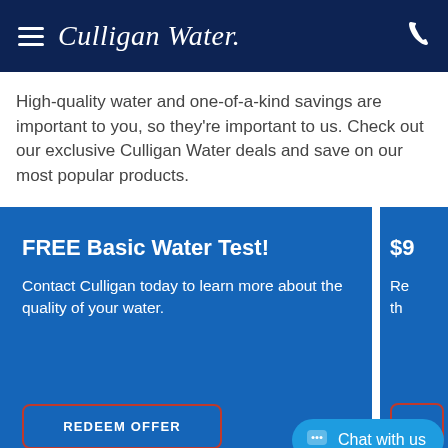Culligan Water
High-quality water and one-of-a-kind savings are important to you, so they're important to us. Check out our exclusive Culligan Water deals and save on our most popular products.
FREE Basic Water Test!
Contact Culligan today to learn more about the quality of your water.
REDEEM OFFER
$9
Re... th...
Chat with us